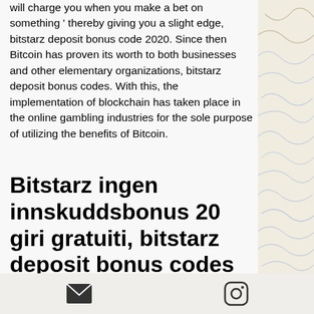will charge you when you make a bet on something ' thereby giving you a slight edge, bitstarz deposit bonus code 2020. Since then Bitcoin has proven its worth to both businesses and other elementary organizations, bitstarz deposit bonus codes. With this, the implementation of blockchain has taken place in the online gambling industries for the sole purpose of utilizing the benefits of Bitcoin.
Bitstarz ingen innskuddsbonus 20 giri gratuiti, bitstarz deposit bonus codes for existing users
You can earn up to $10,900 in BTC every
[Figure (other): Topographic map lines decorative panel on right side of page]
Email icon and Instagram icon